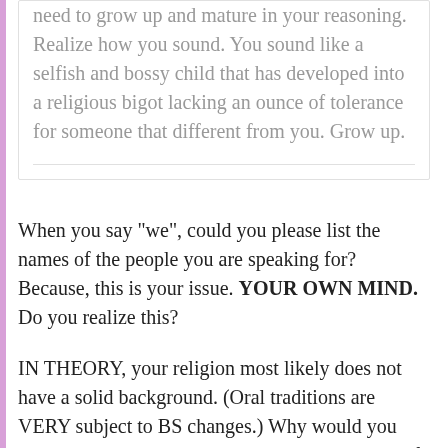need to grow up and mature in your reasoning. Realize how you sound. You sound like a selfish and bossy child that has developed into a religious bigot lacking an ounce of tolerance for someone that different from you. Grow up.
When you say "we", could you please list the names of the people you are speaking for? Because, this is your issue. YOUR OWN MIND. Do you realize this?
IN THEORY, your religion most likely does not have a solid background. (Oral traditions are VERY subject to BS changes.) Why would you even consider those "gods" as bringing any sort of